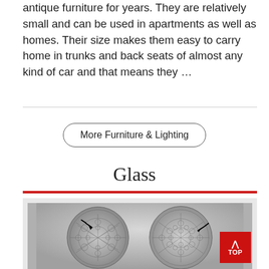antique furniture for years. They are relatively small and can be used in apartments as well as homes. Their size makes them easy to carry home in trunks and back seats of almost any kind of car and that means they …
More Furniture & Lighting
Glass
[Figure (photo): Black and white photograph showing two round decorative glass plates with intricate cut-glass star and hobstar patterns. Each plate has an arrow pointing to a detail near its rim.]